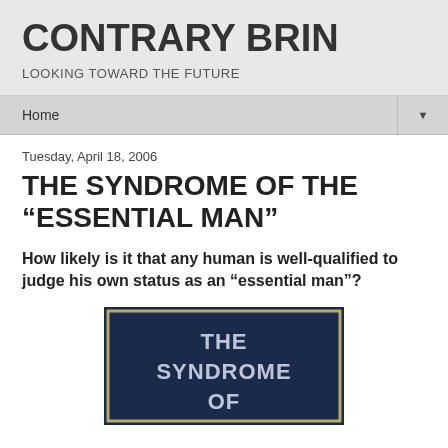CONTRARY BRIN
LOOKING TOWARD THE FUTURE
Home
Tuesday, April 18, 2006
THE SYNDROME OF THE “ESSENTIAL MAN”
How likely is it that any human is well-qualified to judge his own status as an “essential man”?
[Figure (illustration): Book cover with dark navy background and gold border. Text reads: THE SYNDROME OF on the visible portion.]